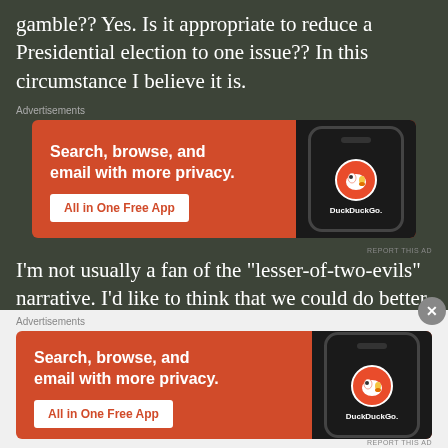gamble?? Yes. Is it appropriate to reduce a Presidential election to one issue?? In this circumstance I believe it is.
[Figure (screenshot): DuckDuckGo advertisement banner with orange background, text 'Search, browse, and email with more privacy. All in One Free App' and a phone showing the DuckDuckGo app icon]
I'm not usually a fan of the “lesser-of-two-evils” narrative. I’d like to think that we could do better. I probably have an overly romantic view of history, putting
[Figure (photo): Partial photo of blue sky with palm tree and flagpole]
[Figure (screenshot): Second DuckDuckGo advertisement banner with orange background, same content as above, shown in bottom overlay panel with close button]